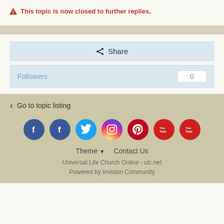⚠ This topic is now closed to further replies.
Share
Followers  0
< Go to topic listing
[Figure (illustration): Row of social media icons: Facebook, Facebook, Twitter, Instagram, Pinterest, YouTube, YouTube]
Theme ▼   Contact Us
Universal Life Church Online - ulc.net
Powered by Invision Community